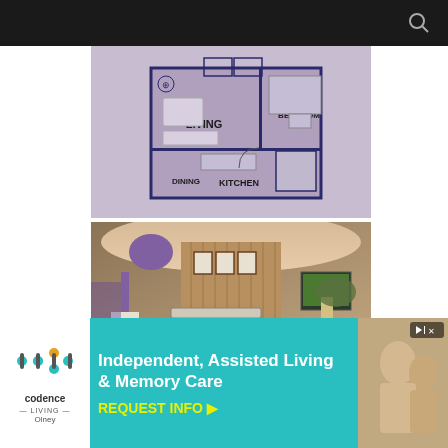[Figure (schematic): Floor plan diagram of a residential unit showing Living room, Master Bedroom, Dining, Kitchen and other rooms in purple/blue tones]
[Figure (photo): Interior photo of a decorated living room with ornate furniture, chandelier, framed artwork on walls, warm wood paneling]
[Figure (infographic): Advertisement for Codence Living - Independent, Assisted Living & Memory Care with REQUEST INFO call to action, Olney location]